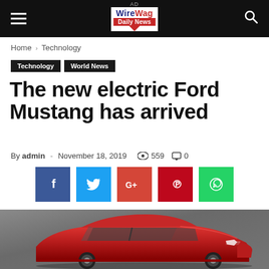AD | WireWag Daily News
Home › Technology
Technology | World News
The new electric Ford Mustang has arrived
By admin - November 18, 2019  559  0
[Figure (screenshot): Social share buttons: Facebook (blue), Twitter (light blue), Google+ (red-orange), Pinterest (red), WhatsApp (green)]
[Figure (photo): Red Ford Mustang Mach-E electric SUV shown in profile/three-quarter view on a grey studio background]